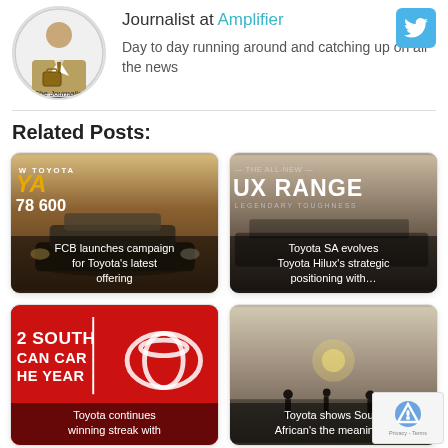[Figure (illustration): Circular avatar with journalist figure illustration and 'The Journalist' text below]
Journalist at Amplifier
Day to day running around and catching up on all the news
[Figure (logo): Twitter bird icon button in light blue]
Related Posts:
[Figure (photo): Toyota Yaris promotional card showing 'W TOYOTA YA 78 600' text on car background with overlay caption: FCB launches campaign for Toyota's latest offering]
[Figure (photo): Toyota Hilux The All-New UX Range promotional card with dark overlay showing cars and caption: Toyota SA evolves Toyota Hilux's strategic positioning with...]
[Figure (photo): Red card with '2 SOUTH CAN CAR HE YEAR' text and Toyota logo, caption: Toyota continues winning streak with]
[Figure (photo): Desert/dusk scene with silhouettes caption: Toyota shows South African's the meaning of]